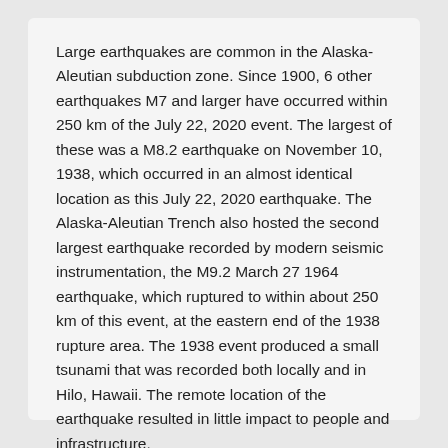Large earthquakes are common in the Alaska-Aleutian subduction zone. Since 1900, 6 other earthquakes M7 and larger have occurred within 250 km of the July 22, 2020 event. The largest of these was a M8.2 earthquake on November 10, 1938, which occurred in an almost identical location as this July 22, 2020 earthquake. The Alaska-Aleutian Trench also hosted the second largest earthquake recorded by modern seismic instrumentation, the M9.2 March 27 1964 earthquake, which ruptured to within about 250 km of this event, at the eastern end of the 1938 rupture area. The 1938 event produced a small tsunami that was recorded both locally and in Hilo, Hawaii. The remote location of the earthquake resulted in little impact to people and infrastructure.